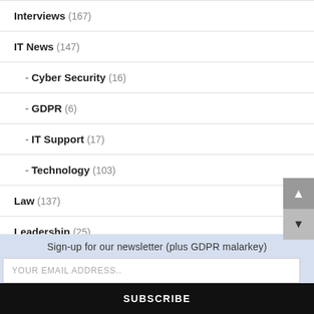Interviews (167)
IT News (147)
- Cyber Security (16)
- GDPR (6)
- IT Support (17)
- Technology (103)
Law (137)
Leadership (25)
Sign-up for our newsletter (plus GDPR malarkey)
YOUR EMAIL ADDRESS..
SUBSCRIBE